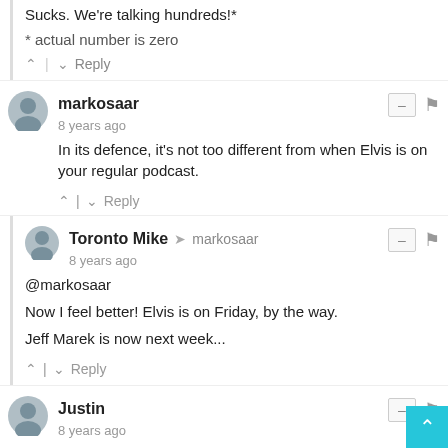Sucks. We're talking hundreds!*
* actual number is zero
markosaar · 8 years ago
In its defence, it's not too different from when Elvis is on your regular podcast.
Toronto Mike → markosaar · 8 years ago
@markosaar

Now I feel better! Elvis is on Friday, by the way.

Jeff Marek is now next week...
Justin · 8 years ago
"Jeff Marek is now next week..."